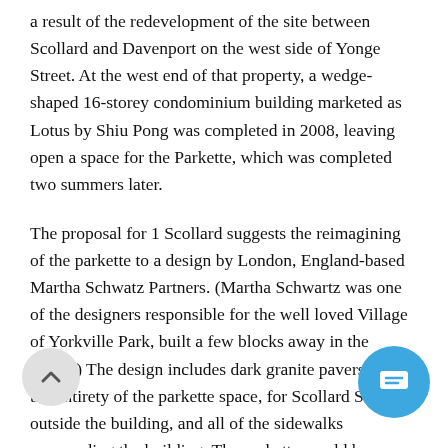a result of the redevelopment of the site between Scollard and Davenport on the west side of Yonge Street. At the west end of that property, a wedge-shaped 16-storey condominium building marketed as Lotus by Shiu Pong was completed in 2008, leaving open a space for the Parkette, which was completed two summers later.
The proposal for 1 Scollard suggests the reimagining of the parkette to a design by London, England-based Martha Schwatz Partners. (Martha Schwartz was one of the designers responsible for the well loved Village of Yorkville Park, built a few blocks away in the 1990s.) The design includes dark granite pavers across the entirety of the parkette space, for Scollard Street outside the building, and all of the sidewalks surrounding the building. The parkette would be notable for a polished metal "forest bowl" which would reflect passersby in a similar fash Anish Kapoor's popular Cloud Gate in Chicago's M Park. Coniferous trees and ground cover would be planted in the forest bowl, bringing a piece of the